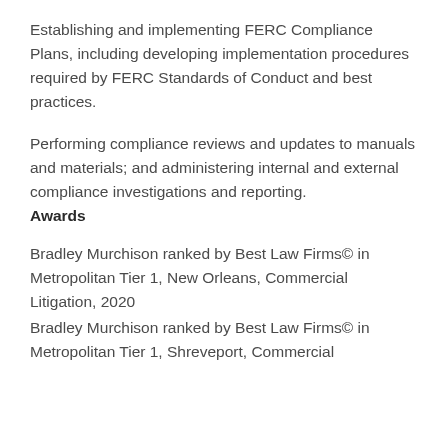Establishing and implementing FERC Compliance Plans, including developing implementation procedures required by FERC Standards of Conduct and best practices.
Performing compliance reviews and updates to manuals and materials; and administering internal and external compliance investigations and reporting.
Awards
Bradley Murchison ranked by Best Law Firms© in Metropolitan Tier 1, New Orleans, Commercial Litigation, 2020
Bradley Murchison ranked by Best Law Firms© in Metropolitan Tier 1, Shreveport, Commercial